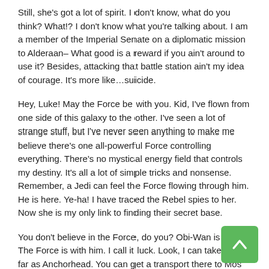Still, she's got a lot of spirit. I don't know, what do you think? What!? I don't know what you're talking about. I am a member of the Imperial Senate on a diplomatic mission to Alderaan– What good is a reward if you ain't around to use it? Besides, attacking that battle station ain't my idea of courage. It's more like…suicide.
Hey, Luke! May the Force be with you. Kid, I've flown from one side of this galaxy to the other. I've seen a lot of strange stuff, but I've never seen anything to make me believe there's one all-powerful Force controlling everything. There's no mystical energy field that controls my destiny. It's all a lot of simple tricks and nonsense. Remember, a Jedi can feel the Force flowing through him. He is here. Ye-ha! I have traced the Rebel spies to her. Now she is my only link to finding their secret base.
You don't believe in the Force, do you? Obi-Wan is here. The Force is with him. I call it luck. Look, I can take you as far as Anchorhead. You can get a transport there to Mos Eisley or wherever you're going. What?! The Force is strong with this one. I have you now.